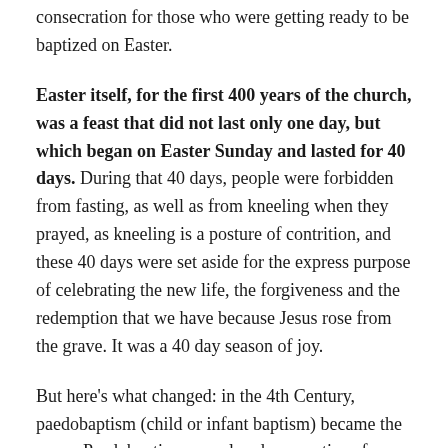consecration for those who were getting ready to be baptized on Easter.
Easter itself, for the first 400 years of the church, was a feast that did not last only one day, but which began on Easter Sunday and lasted for 40 days. During that 40 days, people were forbidden from fasting, as well as from kneeling when they prayed, as kneeling is a posture of contrition, and these 40 days were set aside for the express purpose of celebrating the new life, the forgiveness and the redemption that we have because Jesus rose from the grave. It was a 40 day season of joy.
But here's what changed: in the 4th Century, paedobaptism (child or infant baptism) became the norm. Paedobaptism was already a practice of some churches before that; Tertullian, in his On Baptism (circa